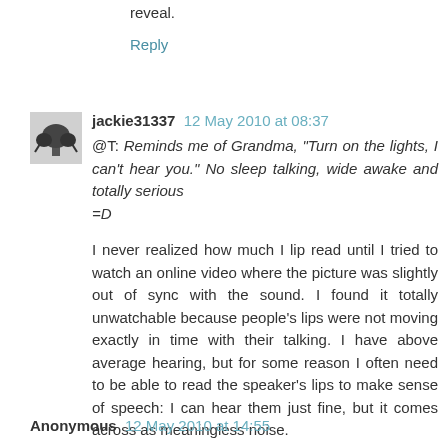reveal.
Reply
jackie31337  12 May 2010 at 08:37
@T: Reminds me of Grandma, "Turn on the lights, I can't hear you." No sleep talking, wide awake and totally serious =D
I never realized how much I lip read until I tried to watch an online video where the picture was slightly out of sync with the sound. I found it totally unwatchable because people's lips were not moving exactly in time with their talking. I have above average hearing, but for some reason I often need to be able to read the speaker's lips to make sense of speech: I can hear them just fine, but it comes across as meaningless noise.
Reply
Anonymous  12 May 2010 at 14:55